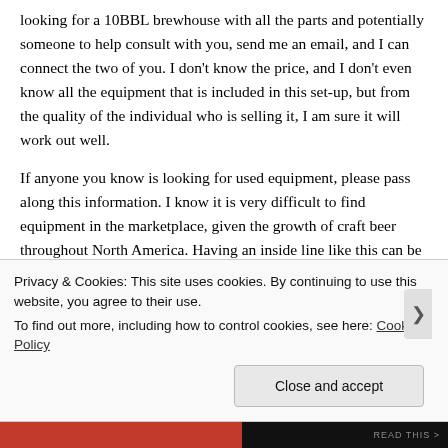looking for a 10BBL brewhouse with all the parts and potentially someone to help consult with you, send me an email, and I can connect the two of you.  I don't know the price, and I don't even know all the equipment that is included in this set-up, but from the quality of the individual who is selling it, I am sure it will work out well.
If anyone you know is looking for used equipment, please pass along this information.  I know it is very difficult to find equipment in the marketplace, given the growth of craft beer throughout North America.  Having  an inside line like this can be a huge help in starting a business and saving cash on the
Privacy & Cookies: This site uses cookies. By continuing to use this website, you agree to their use.
To find out more, including how to control cookies, see here: Cookie Policy
Close and accept